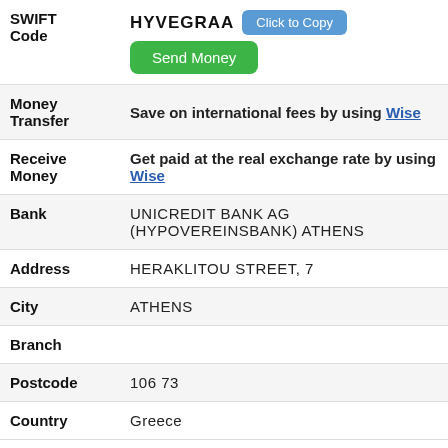| Field | Value |
| --- | --- |
| SWIFT Code | HYVEGRAA [Click to Copy] [Send Money] |
| Money Transfer | Save on international fees by using Wise |
| Receive Money | Get paid at the real exchange rate by using Wise |
| Bank | UNICREDIT BANK AG (HYPOVEREINSBANK) ATHENS |
| Address | HERAKLITOU STREET, 7 |
| City | ATHENS |
| Branch |  |
| Postcode | 106 73 |
| Country | Greece |